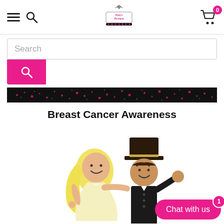Navigation header with hamburger menu, search icon, boutique logo, and shopping cart with badge 0
[Figure (screenshot): Search bar input field with placeholder text 'Search' and pink search button below]
[Figure (photo): Dark banner strip with decorative dot/sparkle pattern]
Breast Cancer Awareness
[Figure (illustration): Cartoon illustration of bride and groom stick figures, bride with blonde hair wearing a dress, groom in black tuxedo and top hat]
Chat with us